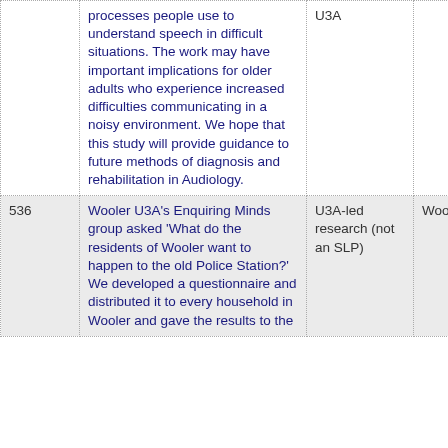| ID | Description | Type | Organisation |
| --- | --- | --- | --- |
|  | processes people use to understand speech in difficult situations. The work may have important implications for older adults who experience increased difficulties communicating in a noisy environment. We hope that this study will provide guidance to future methods of diagnosis and rehabilitation in Audiology. | U3A |  |
| 536 | Wooler U3A's Enquiring Minds group asked 'What do the residents of Wooler want to happen to the old Police Station?' We developed a questionnaire and distributed it to every household in Wooler and gave the results to the | U3A-led research (not an SLP) | Wooler U |